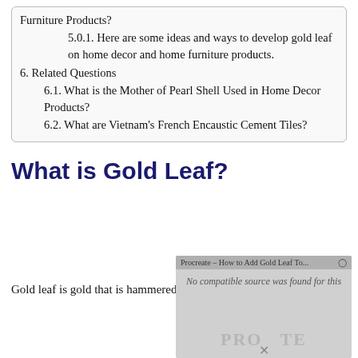Furniture Products?
5.0.1. Here are some ideas and ways to develop gold leaf on home decor and home furniture products.
6. Related Questions
6.1. What is the Mother of Pearl Shell Used in Home Decor Products?
6.2. What are Vietnam's French Encaustic Cement Tiles?
What is Gold Leaf?
Gold leaf is gold that is hammered into very thin
[Figure (screenshot): Video player placeholder showing 'Procreate - How to Add Gold Leaf To...' with message 'No compatible source was found for this' and a watermark logo with an X button]